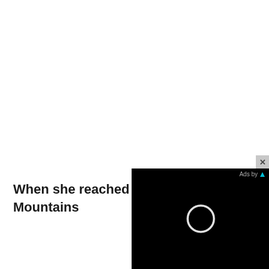When she reached the first hills of the Italic Mountains
[Figure (screenshot): Ad overlay: black rectangle with a circular ring icon (loading/video spinner) in the center, 'Ads by' label with teal triangle logo, and a close (X) button in the top-right corner.]